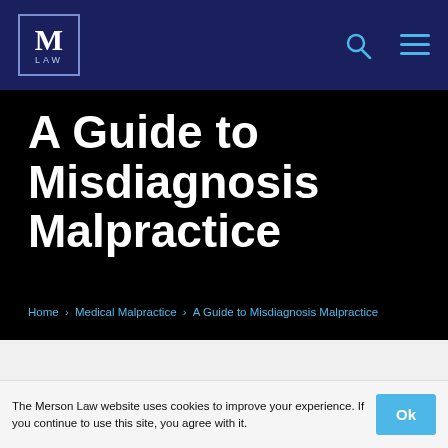M LAW
A Guide to Misdiagnosis Malpractice
Home > Medical Malpractice > A Guide to Misdiagnosis Malpractice
[Figure (photo): Elderly man with glasses looking downward, in a blurred indoor setting]
The Merson Law website uses cookies to improve your experience. If you continue to use this site, you agree with it.